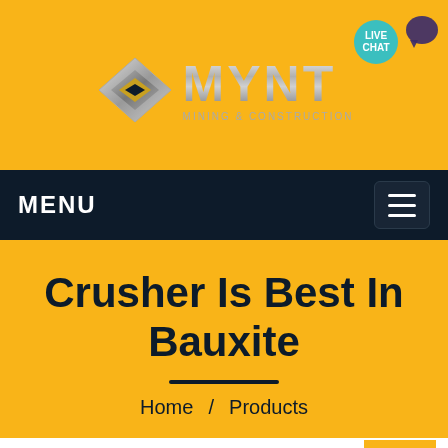[Figure (logo): MYNT Mining & Construction logo with diamond-shaped metallic icon and silver/chrome stylized text]
LIVE CHAT
MENU
Crusher Is Best In Bauxite
Home / Products